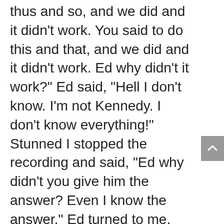"The father said to Ed, "You said do thus and so, and we did and it didn't work. You said to do this and that, and we did and it didn't work. Ed why didn't it work?" Ed said, "Hell I don't know. I'm not Kennedy. I don't know everything!" Stunned I stopped the recording and said, "Ed why didn't you give him the answer? Even I know the answer." Ed turned to me, looking over his readers and said, "Right, you would have given him the answer! I was trying to teach the lesson!" I paused a moment as if I understood, but finally broke my silence to ask, "Ed, what's the lesson?" Ed responded, "That it is okay not to know".